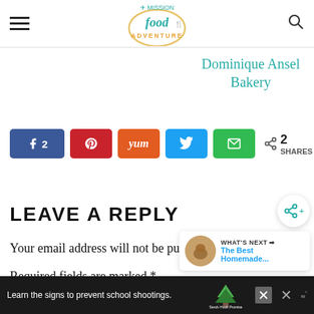Mission Food Adventure
Dominique Ansel Bakery
[Figure (infographic): Social share bar with Facebook (2), Pinterest, Yummly, Twitter, Email buttons and share count of 2 SHARES]
LEAVE A REPLY
Your email address will not be pu...
Required fields are marked *
Co...
[Figure (infographic): Ad banner: Learn the signs to prevent school shootings. Sandy Hook Promise logo.]